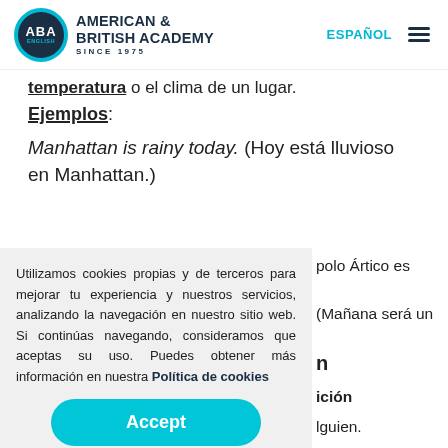[Figure (logo): ABA English - American & British Academy Since 1975 logo with teal circular emblem]
ESPAÑOL
temperatura o el clima de un lugar.
Ejemplos:
Manhattan is rainy today. (Hoy está lluvioso en Manhattan.)
polo Ártico es
(Mañana será un
n
ición
lguien.
Utilizamos cookies propias y de terceros para mejorar tu experiencia y nuestros servicios, analizando la navegación en nuestro sitio web. Si continúas navegando, consideramos que aceptas su uso. Puedes obtener más información en nuestra Política de cookies
Accept